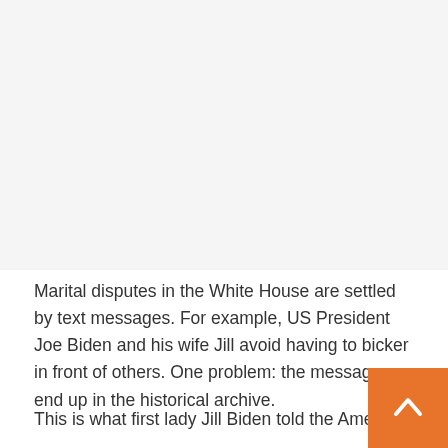[Figure (other): Advertisement or image placeholder area at the top of the page]
Marital disputes in the White House are settled by text messages. For example, US President Joe Biden and his wife Jill avoid having to bicker in front of others. One problem: the messages end up in the historical archive.
This is what first lady Jill Biden told the American